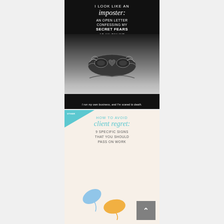[Figure (illustration): Top card with black background showing decorative masquerade mask in black and white. Text overlay reads: I LOOK LIKE AN imposter: AN OPEN LETTER CONFESSING MY SECRET FEARS AS AN ONLINE ENTREPRENEUR. Italic caption at bottom: I run my own business, and I'm scared to death.]
[Figure (illustration): Bottom card with cream/beige background and teal triangle in top-left corner. Text reads: HOW TO AVOID client regret: 9 SPECIFIC SIGNS THAT YOU SHOULD PASS ON WORK. Below is a photo of deflated balloons on a light surface. A grey scroll-to-top button appears in the bottom-right corner.]